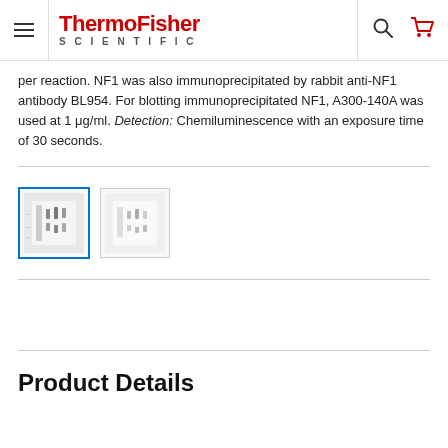ThermoFisher SCIENTIFIC — navigation header with search and cart icons
per reaction. NF1 was also immunoprecipitated by rabbit anti-NF1 antibody BL954. For blotting immunoprecipitated NF1, A300-140A was used at 1 μg/ml. Detection: Chemiluminescence with an exposure time of 30 seconds.
[Figure (photo): Two western blot thumbnail images; the first is selected with a blue border, the second is unselected with a grey border.]
Product Details